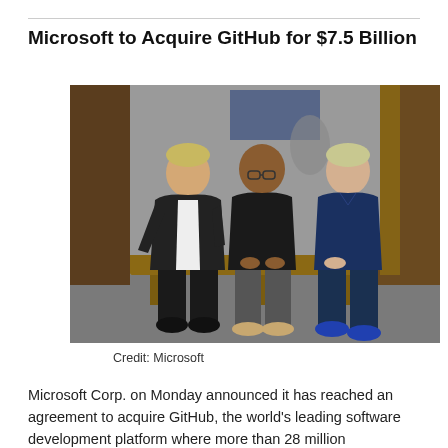Microsoft to Acquire GitHub for $7.5 Billion
[Figure (photo): Three men sitting on a wooden bench in what appears to be an office space. The man on the left wears a black jacket and white shirt, the man in the center wears a black t-shirt and glasses, and the man on the right wears a navy blue polo shirt and jeans.]
Credit: Microsoft
Microsoft Corp. on Monday announced it has reached an agreement to acquire GitHub, the world's leading software development platform where more than 28 million